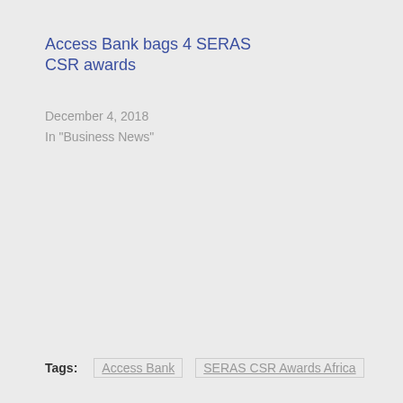Access Bank bags 4 SERAS CSR awards
December 4, 2018
In "Business News"
Tags: Access Bank   SERAS CSR Awards Africa